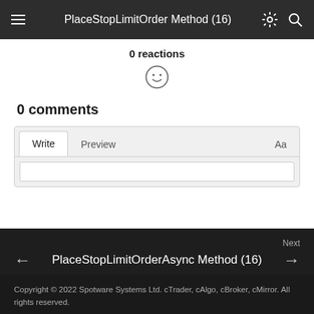PlaceStopLimitOrder Method (16)
0 reactions
0 comments
[Figure (screenshot): Comment editor with Write and Preview tabs and Aa button]
Next
PlaceStopLimitOrderAsync Method (16)
Copyright © 2022 Spotware Systems Ltd. cTrader, cAlgo, cBroker, cMirror. All rights reserved.